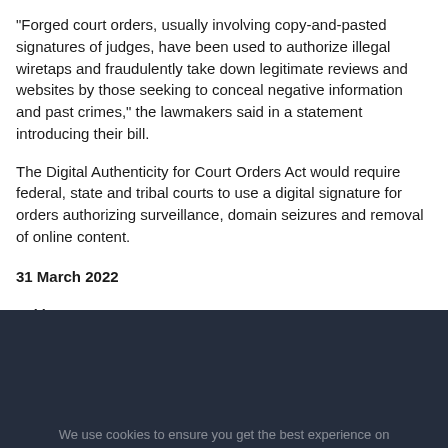"Forged court orders, usually involving copy-and-pasted signatures of judges, have been used to authorize illegal wiretaps and fraudulently take down legitimate reviews and websites by those seeking to conceal negative information and past crimes," the lawmakers said in a statement introducing their bill.
The Digital Authenticity for Court Orders Act would require federal, state and tribal courts to use a digital signature for orders authorizing surveillance, domain seizures and removal of online content.
31 March 2022
>>More
We use cookies to ensure you get the best experience on